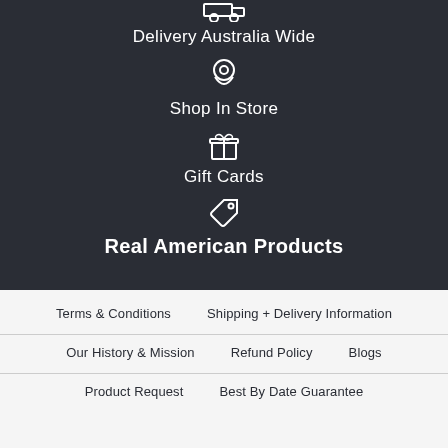[Figure (illustration): Delivery truck icon (partially visible at top)]
Delivery Australia Wide
[Figure (illustration): Location pin icon]
Shop In Store
[Figure (illustration): Gift box icon]
Gift Cards
[Figure (illustration): Price tag icon]
Real American Products
Terms & Conditions
Shipping + Delivery Information
Our History & Mission
Refund Policy
Blogs
Product Request
Best By Date Guarantee